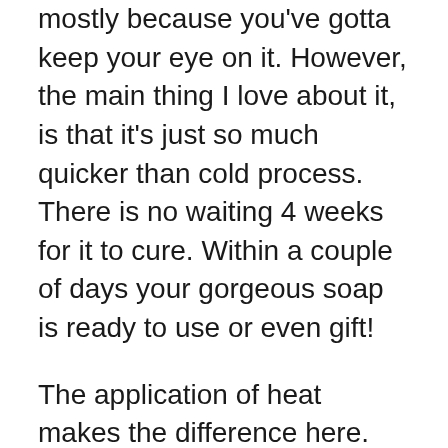mostly because you've gotta keep your eye on it. However, the main thing I love about it, is that it's just so much quicker than cold process. There is no waiting 4 weeks for it to cure. Within a couple of days your gorgeous soap is ready to use or even gift!
The application of heat makes the difference here. Nevertheless, this means you've gotta keep a watch for up to an hour as it cooks in your crock pot. As I'll discuss later, you can use a timer to make this a little easier on yourself.
It's also much hotter and firmer when you